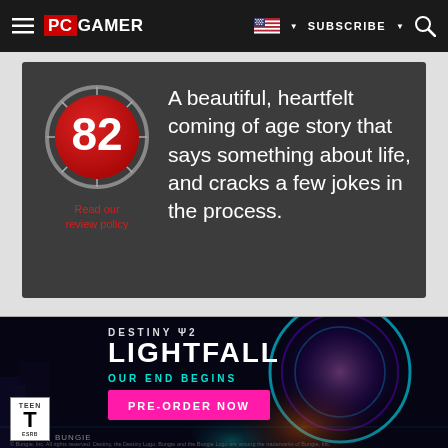PC GAMER | SUBSCRIBE | Search
[Figure (screenshot): Review score card with score 82 in a red circular badge, text 'Read our review policy' in red, and review quote text on dark grey background: 'A beautiful, heartfelt coming of age story that says something about life, and cracks a few jokes in the process.']
[Figure (advertisement): Destiny 2 Lightfall advertisement banner with text 'DESTINY 2 LIGHTFALL OUR END BEGINS PRE-ORDER NOW', ESRB Teen rating, Bungie logo, sci-fi game art with armored characters]